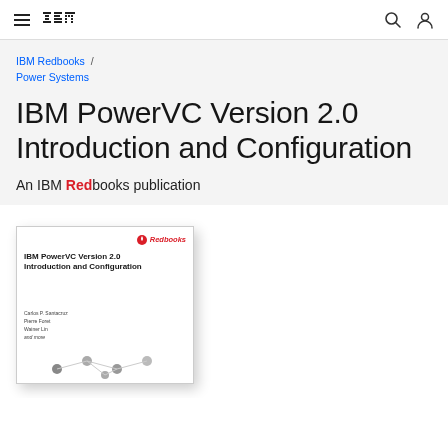IBM (logo) | hamburger menu | search icon | user icon
IBM Redbooks / Power Systems
IBM PowerVC Version 2.0 Introduction and Configuration
An IBM Redbooks publication
[Figure (illustration): Book cover thumbnail of IBM PowerVC Version 2.0 Introduction and Configuration Redbooks publication, showing the cover with Redbooks logo, title, authors, and a network diagram at the bottom.]